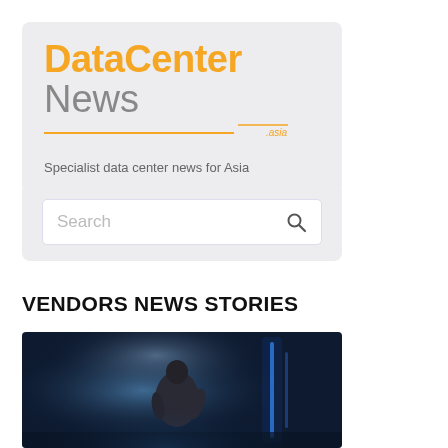[Figure (logo): DataCenter News Asia logo with orange bold 'DataCenter' and grey 'News' text, orange underline, and '.asia' suffix. Tagline: 'Specialist data center news for Asia']
Specialist data center news for Asia
[Figure (screenshot): Search input box with placeholder text 'Search' and a magnifying glass icon on the right]
VENDORS NEWS STORIES
[Figure (photo): Dark stage photo showing a person from behind in a light suit, facing bright blue/white light, holding a device. Blue glowing vertical lines visible on the right side.]